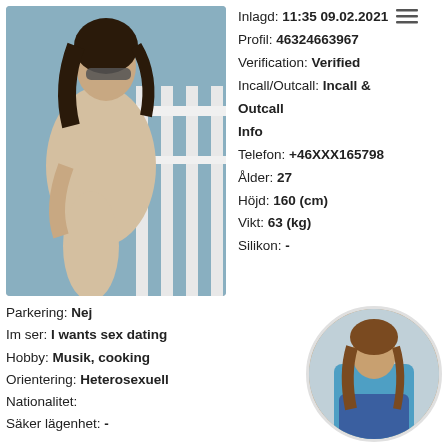[Figure (photo): Main profile photo: woman in beige outfit leaning on white railing]
Inlagd: 11:35 09.02.2021
Profil: 46324663967
Verification: Verified
Incall/Outcall: Incall & Outcall
Info
Telefon: +46XXX165798
Ålder: 27
Höjd: 160 (cm)
Vikt: 63 (kg)
Silikon: -
Parkering: Nej
Im ser: I wants sex dating
Hobby: Musik, cooking
Orientering: Heterosexuell
Nationalitet:
Säker lägenhet: -
[Figure (photo): Circular thumbnail photo: woman in blue top and denim shorts]